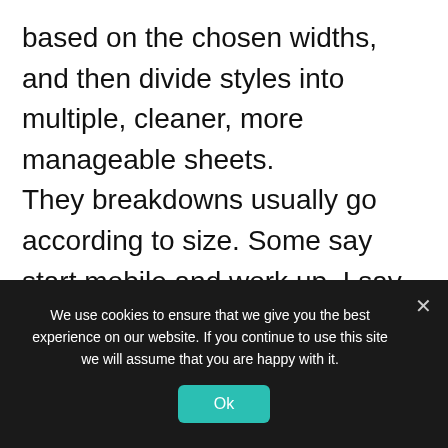based on the chosen widths, and then divide styles into multiple, cleaner, more manageable sheets.

They breakdowns usually go according to size. Some say start mobile and work up. I say start desktop and work down because you need to know all the
We use cookies to ensure that we give you the best experience on our website. If you continue to use this site we will assume that you are happy with it.